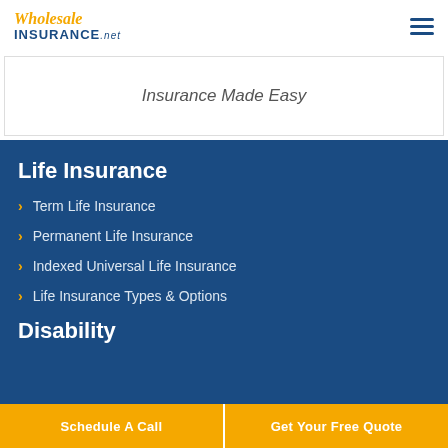[Figure (logo): Wholesale Insurance .net logo with hamburger menu icon]
Insurance Made Easy
Life Insurance
Term Life Insurance
Permanent Life Insurance
Indexed Universal Life Insurance
Life Insurance Types & Options
Disability
Schedule A Call | Get Your Free Quote